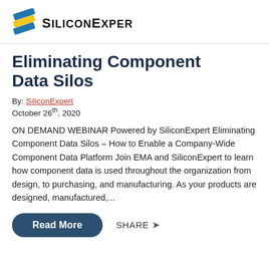[Figure (logo): SiliconExpert logo with stylized 'S' icon in blue and yellow stripes and company name in bold black text]
Eliminating Component Data Silos
By: SiliconExpert
October 26th, 2020
ON DEMAND WEBINAR Powered by SiliconExpert Eliminating Component Data Silos – How to Enable a Company-Wide Component Data Platform Join EMA and SiliconExpert to learn how component data is used throughout the organization from design, to purchasing, and manufacturing. As your products are designed, manufactured,...
Read More
SHARE